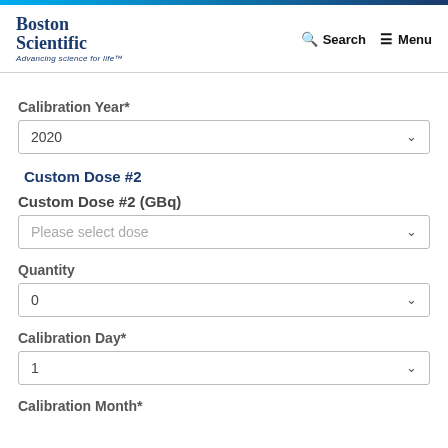Boston Scientific — Advancing science for life™ | Search | Menu
Calibration Year*
2020
Custom Dose #2
Custom Dose #2 (GBq)
Please select dose
Quantity
0
Calibration Day*
1
Calibration Month*